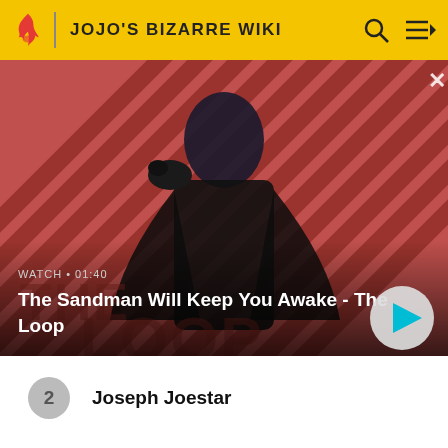JOJO'S BIZARRE WIKI
[Figure (screenshot): Video thumbnail showing a dark-clad figure with a crow on their shoulder against a red diagonal striped background, with text 'WATCH · 01:40' and title 'The Sandman Will Keep You Awake - The Loop']
2  Joseph Joestar
3  Wonder of U